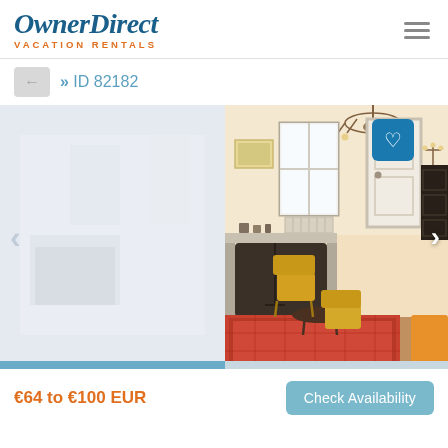[Figure (logo): OwnerDirect Vacation Rentals logo with italic serif blue text and orange subtitle]
» ID 82182
[Figure (photo): Vacation rental living room with fireplace, yellow chairs, chandelier, window, and oriental rug]
€64 to €100 EUR
Check Availability